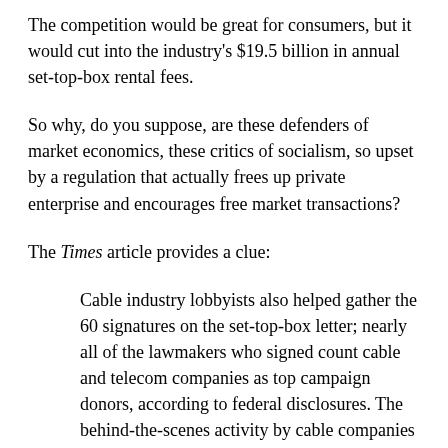The competition would be great for consumers, but it would cut into the industry's $19.5 billion in annual set-top-box rental fees.
So why, do you suppose, are these defenders of market economics, these critics of socialism, so upset by a regulation that actually frees up private enterprise and encourages free market transactions?
The Times article provides a clue:
Cable industry lobbyists also helped gather the 60 signatures on the set-top-box letter; nearly all of the lawmakers who signed count cable and telecom companies as top campaign donors, according to federal disclosures. The behind-the-scenes activity by cable companies and their industry groups is part of the biggest lobbying push. The trigger? A string of proposed regulations by the F.C.C. … The target of